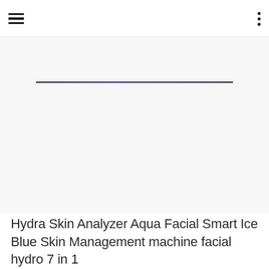Navigation header with hamburger menu and dots menu
[Figure (photo): Product image area with a thin horizontal line, mostly white/light gray background suggesting a product photo loading area]
Hydra Skin Analyzer Aqua Facial Smart Ice Blue Skin Management machine facial hydro 7 in 1